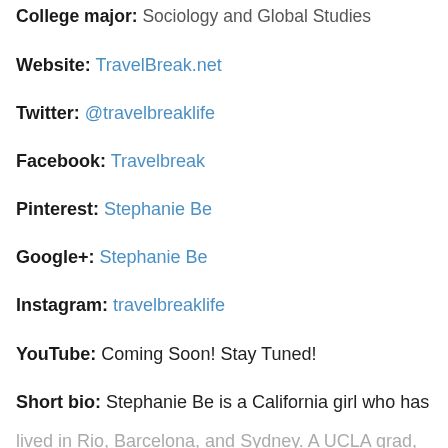College major: Sociology and Global Studies
Website: TravelBreak.net
Twitter: @travelbreaklife
Facebook: Travelbreak
Pinterest: Stephanie Be
Google+: Stephanie Be
Instagram: travelbreaklife
YouTube: Coming Soon! Stay Tuned!
Short bio: Stephanie Be is a California girl who has lived in Rio, Barcelona, and Sydney. A UCLA grad, she grew up corporate world to fulfill her calling as a travel...